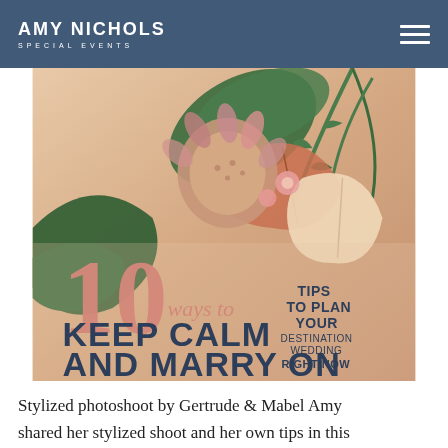AMY NICHOLS SPECIAL EVENTS
[Figure (photo): Magazine cover image showing a tropical floral bouquet (protea, anthurium, palm leaves) with text overlay: '10 ways to KEEP CALM AND MARRY ON — TIPS TO PLAN YOUR DESTINATION WEDDING RIGHT NOW']
Stylized photoshoot by Gertrude & Mabel Amy shared her stylized shoot and her own tips in this